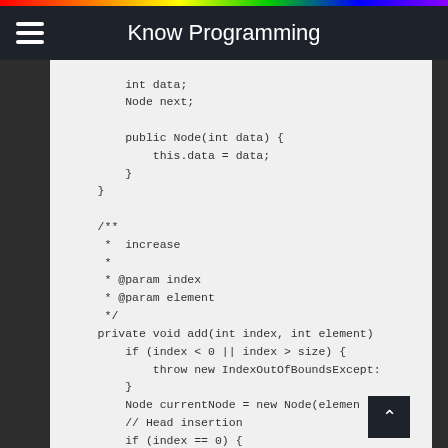Know Programming
[Figure (screenshot): Java code snippet showing a Node class with int data and Node next fields, a constructor, a Javadoc comment for an 'increase' method with @param index and @param element, and a private void add(int index, int element) method with index bounds checking, throw new IndexOutOfBoundsException, Node currentNode = new Node(element), a comment // Head insertion, and if (index == 0) { // Empty list]